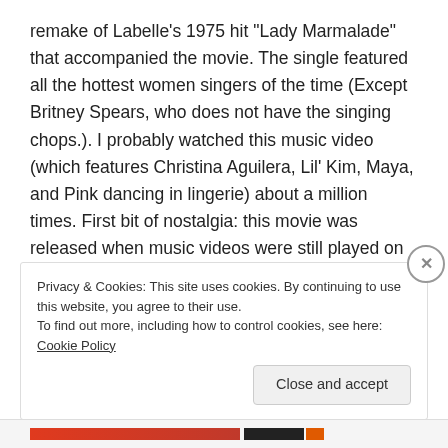remake of Labelle's 1975 hit “Lady Marmalade” that accompanied the movie. The single featured all the hottest women singers of the time (Except Britney Spears, who does not have the singing chops.). I probably watched this music video (which features Christina Aguilera, Lil’ Kim, Maya, and Pink dancing in lingerie) about a million times. First bit of nostalgia: this movie was released when music videos were still played on MTV.
Privacy & Cookies: This site uses cookies. By continuing to use this website, you agree to their use.
To find out more, including how to control cookies, see here: Cookie Policy
Close and accept